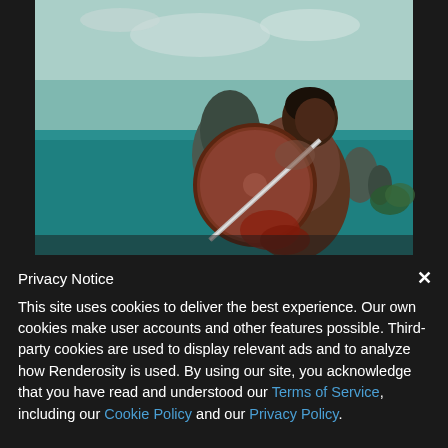[Figure (screenshot): A CGI-rendered warrior or gladiator figure with dark skin, wearing ancient battle armor with a large round shield and sword, set against a teal ocean background with rocky formations. The figure appears aggressive/combat-ready.]
Privacy Notice
This site uses cookies to deliver the best experience. Our own cookies make user accounts and other features possible. Third-party cookies are used to display relevant ads and to analyze how Renderosity is used. By using our site, you acknowledge that you have read and understood our Terms of Service, including our Cookie Policy and our Privacy Policy.